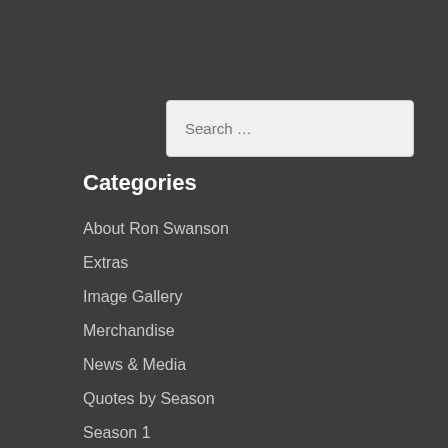[Figure (screenshot): Search input field with placeholder text 'Search ...' on dark background]
Categories
About Ron Swanson
Extras
Image Gallery
Merchandise
News & Media
Quotes by Season
Season 1
Season 2